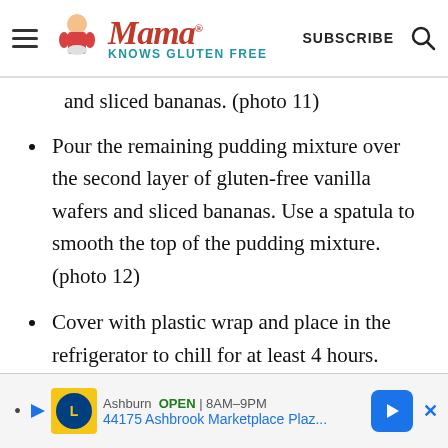Mama Knows Gluten Free — SUBSCRIBE
and sliced bananas. (photo 11)
Pour the remaining pudding mixture over the second layer of gluten-free vanilla wafers and sliced bananas. Use a spatula to smooth the top of the pudding mixture. (photo 12)
Cover with plastic wrap and place in the refrigerator to chill for at least 4 hours.
[Figure (screenshot): Advertisement banner: Lidl store in Ashburn, OPEN 8AM-9PM, 44175 Ashbrook Marketplace Plaz... with navigation arrow]